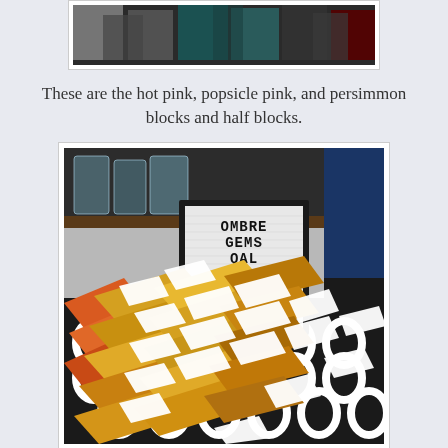[Figure (photo): Top portion of a photo showing colorful quilt blocks in dark tones (pink, teal, dark red), partially cropped at the top of the page.]
These are the hot pink, popsicle pink, and persimmon blocks and half blocks.
[Figure (photo): Photo of quilt blocks laid out on a black and white patterned surface. A letter board sign in the background reads 'OMBRE GEMS QAL WEEK #3'. The quilt pieces are orange, yellow, gold, and white fabric arranged in diamond/block shapes.]